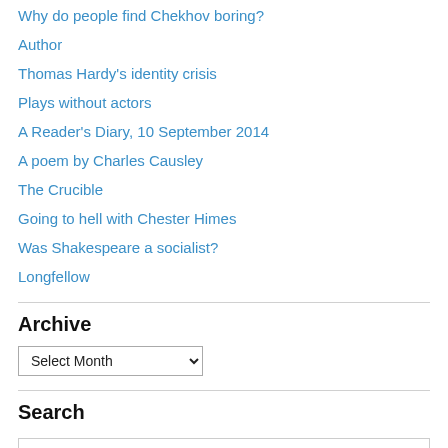Why do people find Chekhov boring?
Author
Thomas Hardy's identity crisis
Plays without actors
A Reader's Diary, 10 September 2014
A poem by Charles Causley
The Crucible
Going to hell with Chester Himes
Was Shakespeare a socialist?
Longfellow
Archive
Search